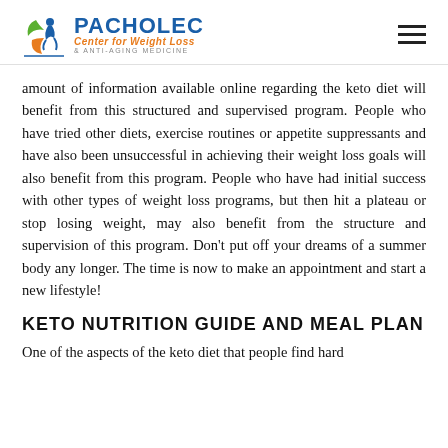PACHOLEC Center for Weight Loss & Anti-Aging Medicine
amount of information available online regarding the keto diet will benefit from this structured and supervised program. People who have tried other diets, exercise routines or appetite suppressants and have also been unsuccessful in achieving their weight loss goals will also benefit from this program. People who have had initial success with other types of weight loss programs, but then hit a plateau or stop losing weight, may also benefit from the structure and supervision of this program. Don't put off your dreams of a summer body any longer. The time is now to make an appointment and start a new lifestyle!
KETO NUTRITION GUIDE AND MEAL PLAN
One of the aspects of the keto diet that people find hard